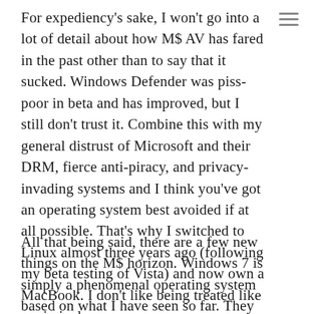For expediency's sake, I won't go into a lot of detail about how M$ AV has fared in the past other than to say that it sucked. Windows Defender was piss-poor in beta and has improved, but I still don't trust it. Combine this with my general distrust of Microsoft and their DRM, fierce anti-piracy, and privacy-invading systems and I think you've got an operating system best avoided if at all possible. That's why I switched to Linux almost three years ago (following my beta testing of Vista) and now own a MacBook. I don't like being treated like a criminal.
All that being said, there are a few new things on the M$ horizon. Windows 7 is simply a phenomenal operating system based on what I have seen so far. They keep telling me that it's